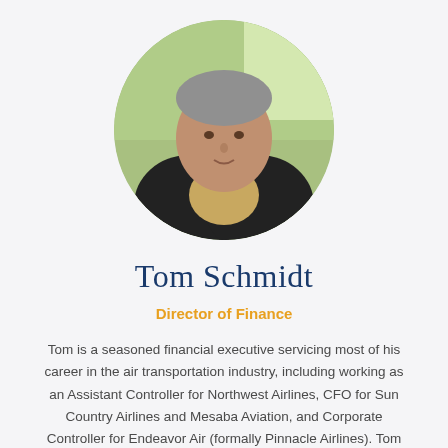[Figure (photo): Circular cropped headshot of Tom Schmidt, a man in a dark blazer and plaid shirt, photographed outdoors with green foliage in the background.]
Tom Schmidt
Director of Finance
Tom is a seasoned financial executive servicing most of his career in the air transportation industry, including working as an Assistant Controller for Northwest Airlines, CFO for Sun Country Airlines and Mesaba Aviation, and Corporate Controller for Endeavor Air (formally Pinnacle Airlines). Tom joined HealthStar in